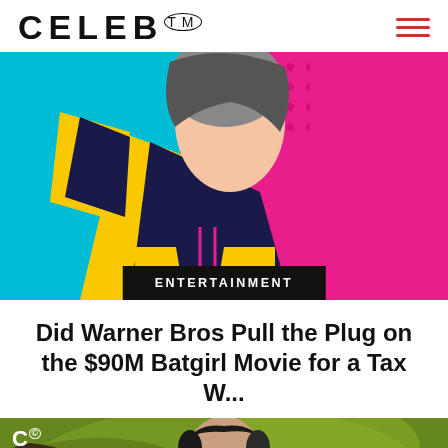CELEB™
[Figure (illustration): Pop-art style illustration of a female figure in a dark jacket with yellow accents against a bright cyan and magenta/pink background, with an ENTERTAINMENT category badge overlaid at the bottom]
ENTERTAINMENT
Did Warner Bros Pull the Plug on the $90M Batgirl Movie for a Tax W...
[Figure (photo): Photo of a man with sunglasses and styled dark hair against a green blurred background, with a small Celeb logo watermark in the top-left corner]